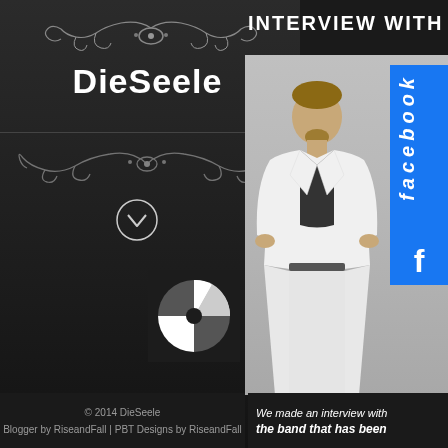[Figure (logo): Decorative ornament flourish at top of left panel]
DieSeele
[Figure (illustration): Decorative ornament flourish below divider line]
[Figure (illustration): Chevron circle icon]
[Figure (illustration): Spinning wheel / loading spinner widget icon]
INTERVIEW WITH '
[Figure (photo): Black and white photo of a man in a white suit jacket and dark shirt, standing against a grey sky. Facebook logo/banner partially visible on right side.]
© 2014 DieSeele
Blogger by RiseandFall | PBT Designs by RiseandFall
We made an interview with the band that has been